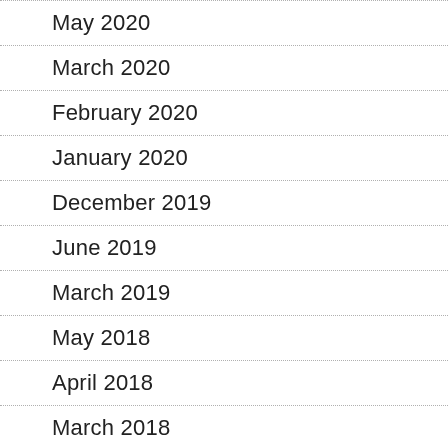May 2020
March 2020
February 2020
January 2020
December 2019
June 2019
March 2019
May 2018
April 2018
March 2018
January 2018